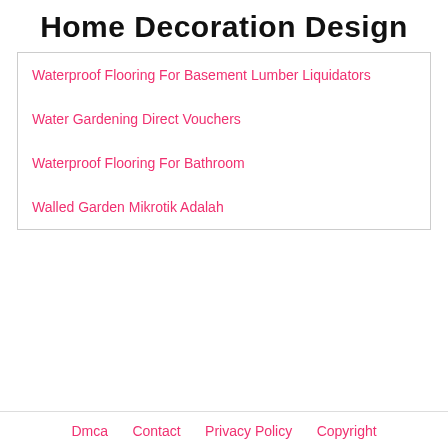Home Decoration Design
Waterproof Flooring For Basement Lumber Liquidators
Water Gardening Direct Vouchers
Waterproof Flooring For Bathroom
Walled Garden Mikrotik Adalah
Dmca   Contact   Privacy Policy   Copyright